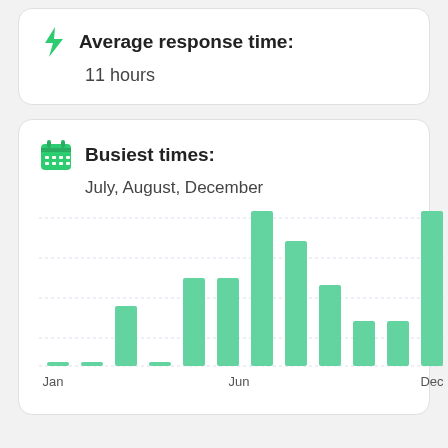Average response time: 11 hours
Busiest times: July, August, December
[Figure (bar-chart): Busiest times by month]